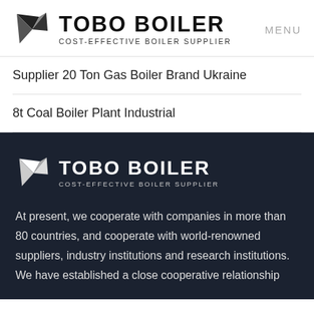[Figure (logo): Tobo Boiler logo with geometric kite/flag icon and text TOBO BOILER COST-EFFECTIVE BOILER SUPPLIER]
MENU
Supplier 20 Ton Gas Boiler Brand Ukraine
8t Coal Boiler Plant Industrial
[Figure (logo): Tobo Boiler logo white version on dark background with text TOBO BOILER COST-EFFECTIVE BOILER SUPPLIER]
At present, we cooperate with companies in more than 80 countries, and cooperate with world-renowned suppliers, industry institutions and research institutions. We have established a close cooperative relationship